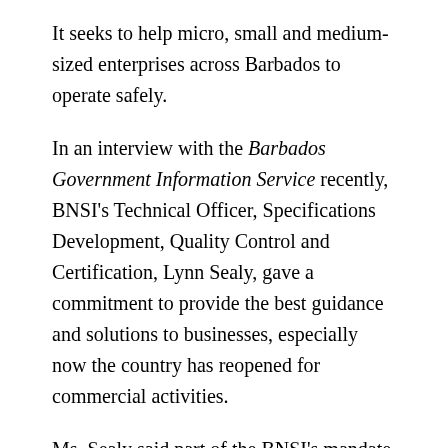It seeks to help micro, small and medium-sized enterprises across Barbados to operate safely.
In an interview with the Barbados Government Information Service recently, BNSI's Technical Officer, Specifications Development, Quality Control and Certification, Lynn Sealy, gave a commitment to provide the best guidance and solutions to businesses, especially now the country has reopened for commercial activities.
Ms. Sealy said part of the BNSI's mandate is to provide solutions to common or “repeated” problems in society, especially within the COVID-19 pandemic.